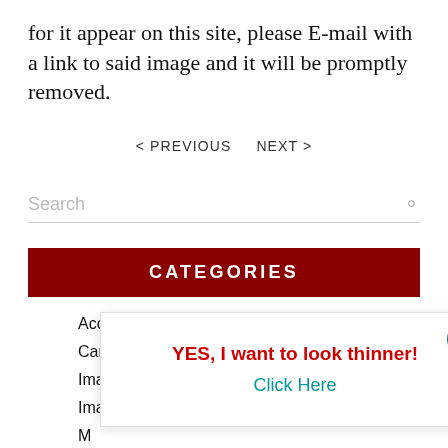for it appear on this site, please E-mail with a link to said image and it will be promptly removed.
< PREVIOUS   NEXT >
Search
CATEGORIES
Accessorizing
Caring for Clothes
Image and Business
Image and Style
M
M
N
O
YES, I want to look thinner!
Click Here